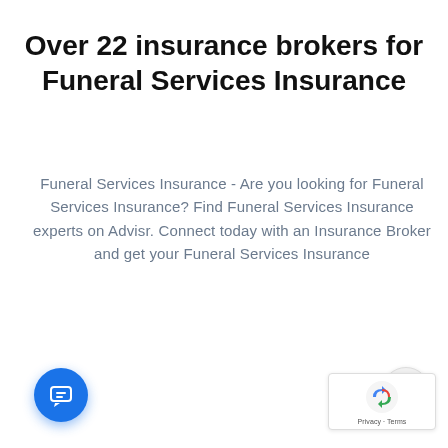Over 22 insurance brokers for Funeral Services Insurance
Funeral Services Insurance - Are you looking for Funeral Services Insurance? Find Funeral Services Insurance experts on Advisr. Connect today with an Insurance Broker and get your Funeral Services Insurance sorted.
[Figure (screenshot): Chat widget popup with avatar of a female character, close button (×), and text 'Got any questions? I'm happy to help.']
[Figure (other): Scroll-to-top button with upward chevron]
[Figure (other): Blue circular chat launcher button with chat icon]
[Figure (logo): Google reCAPTCHA badge with recycling arrows logo and Privacy · Terms links]